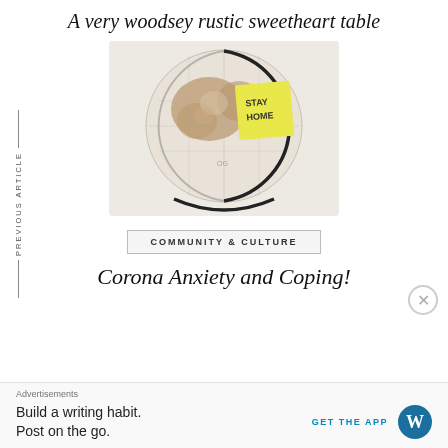A very woodsey rustic sweetheart table
[Figure (photo): A decorative globe on a metal stand with a yellow sticky note reading 'STAY HOME' placed on top of it, set against a white background.]
PREVIOUS ARTICLE
COMMUNITY & CULTURE
Corona Anxiety and Coping!
Advertisements
Build a writing habit.
Post on the go.
GET THE APP